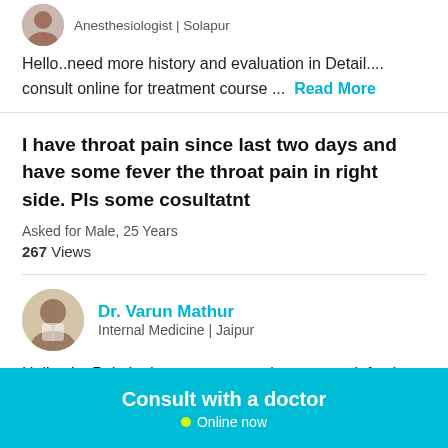Anesthesiologist | Solapur
Hello..need more history and evaluation in Detail.... consult online for treatment course ... Read More
I have throat pain since last two days and have some fever the throat pain in right side. Pls some cosultatnt
Asked for Male, 25 Years
267 Views
Dr. Varun Mathur
Internal Medicine | Jaipur
Hello sir.. Pain is due to upper respiratory tract infection.. It will get fine after medication.. Please consult with me on my private chat window for full treatment and prescription... ... Read More
Consult with a doctor
Online now